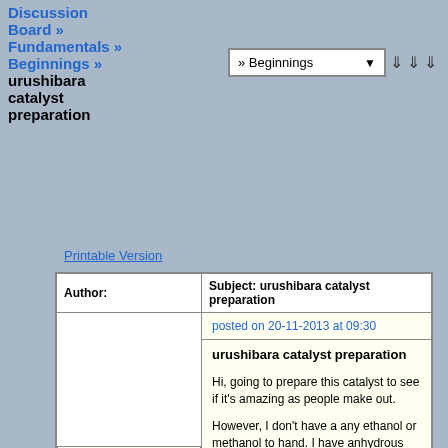Discussion Board » Fundamentals » Beginnings » urushibara catalyst preparation
» Beginnings (dropdown)
Printable Version
| Author: | Subject: urushibara catalyst preparation |
| --- | --- |
| pepsimax
Hazard to Self
★★

Posts: 74
Registered: 30-7-2013
Member Is Offline

Mood: No Mood | posted on 20-11-2013 at 09:30

urushibara catalyst preparation

Hi, going to prepare this catalyst to see if it's amazing as people make out.

However, I don't have a any ethanol or methanol to hand. I have anhydrous IPA, or I distilled a bottle of methelated spirits a few times so have about 500ml mostly ethanol alcohol mix. H2SO4 was added to boiling flask to create a pyradine salt which won't pass over.

Could straight IPA be used or would my alcohol mix be OK? The msds suggested it only contained 95% ethanol, methanol, pyridine and methylene violet, most of which will have been removed.

Also, I'll try a few variations of the catalyst, mainly zinc |